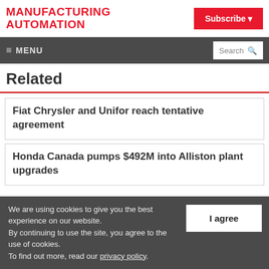MANUFACTURING AUTOMATION
Subscribe
≡ MENU  Search
Related
Fiat Chrysler and Unifor reach tentative agreement
Honda Canada pumps $492M into Alliston plant upgrades
We are using cookies to give you the best experience on our website. By continuing to use the site, you agree to the use of cookies. To find out more, read our privacy policy.